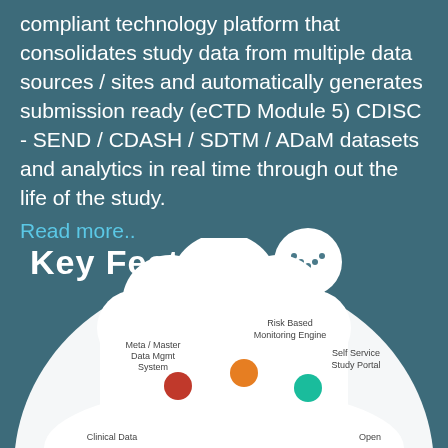compliant technology platform that consolidates study data from multiple data sources / sites and automatically generates submission ready (eCTD Module 5) CDISC - SEND / CDASH / SDTM / ADaM datasets and analytics in real time through out the life of the study. Read more..
Key Features
[Figure (infographic): Circular diagram showing key platform components including: Risk Based Monitoring Engine, Meta / Master Data Mgmt System, Self Service Study Portal, Clinical Data, Open — arranged around a central cloud/circle shape with colored dots representing each component]